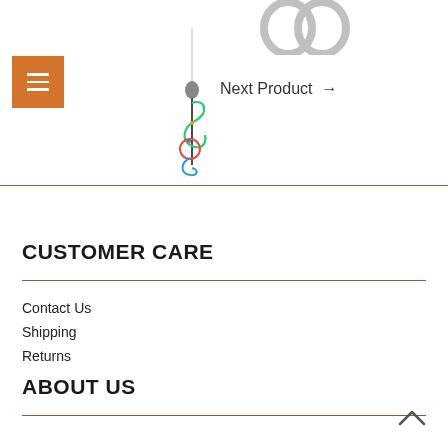[Figure (photo): Silver rings at the top]
[Figure (photo): Colorful treble clef music note necklace pendant on a silver chain]
Next Product →
CUSTOMER CARE
Contact Us
Shipping
Returns
ABOUT US